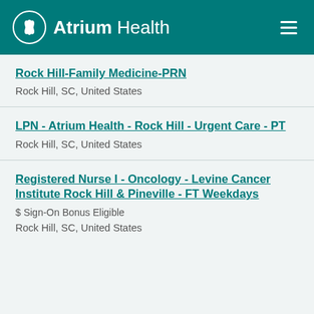Atrium Health
Rock Hill-Family Medicine-PRN
Rock Hill, SC, United States
LPN - Atrium Health - Rock Hill - Urgent Care - PT
Rock Hill, SC, United States
Registered Nurse I - Oncology - Levine Cancer Institute Rock Hill & Pineville - FT Weekdays
$ Sign-On Bonus Eligible
Rock Hill, SC, United States